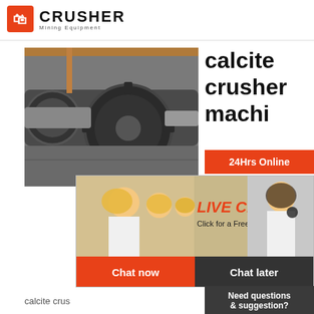[Figure (logo): Crusher Mining Equipment logo with red shopping bag icon and bold CRUSHER text]
[Figure (photo): Industrial ball mill machinery with large gear, gray cylindrical grinding mill in factory]
calcite crusher machi
24Hrs Online
[Figure (photo): Live Chat popup overlay showing workers in yellow hard hats and female customer service agent with headset. Text: LIVE CHAT, Click for a Free Consultation, Chat now, Chat later]
calcite crus
Read More
Need questions & suggestion?
Chat Now
Enquiry
limingjlmofen@sina.com
[Figure (photo): Construction or mining site with yellow and orange heavy machinery and scaffolding]
coppe